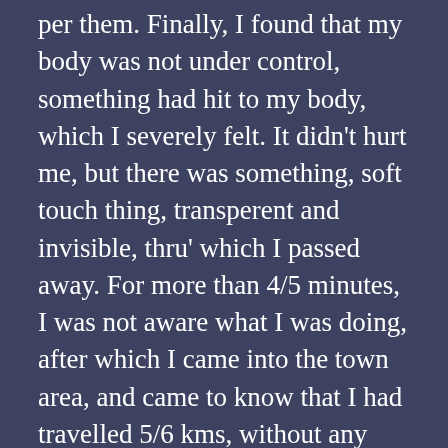per them. Finally, I found that my body was not under control, something had hit to my body, which I severely felt. It didn't hurt me, but there was something, soft touch thing, transperent and invisible, thru' which I passed away. For more than 4/5 minutes, I was not aware what I was doing, after which I came into the town area, and came to know that I had travelled 5/6 kms, without any knowledge. I certainly surprised me, as well as, the road being so bad, I could not understand it. But I came out safely.